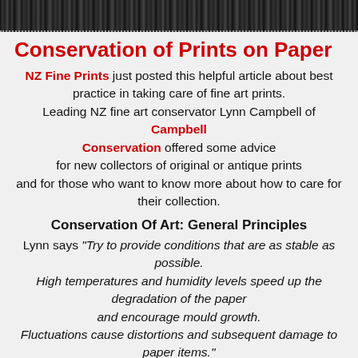[textured dark header image]
Conservation of Prints on Paper
NZ Fine Prints just posted this helpful article about best practice in taking care of fine art prints. Leading NZ fine art conservator Lynn Campbell of Campbell Conservation offered some advice for new collectors of original or antique prints and for those who want to know more about how to care for their collection.
Conservation Of Art: General Principles
Lynn says "Try to provide conditions that are as stable as possible. High temperatures and humidity levels speed up the degradation of the paper and encourage mould growth. Fluctuations cause distortions and subsequent damage to paper items." The optimum storage conditions are 18-22°c and 45-55% relative humidity. These precise conditions are difficult to achieve without